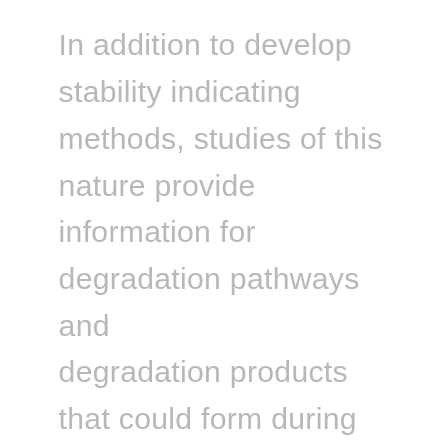In addition to develop stability indicating methods, studies of this nature provide information for degradation pathways and degradation products that could form during storage and transportation. Forced degradation studies may help facilitate characterisation of...
We use cookies on our website to give you the most relevant experience by remembering your preferences and repeat visits. By clicking “Accept”, you consent to the use of ALL the cookies. However you may visit Cookie Settings to provide a controlled consent.